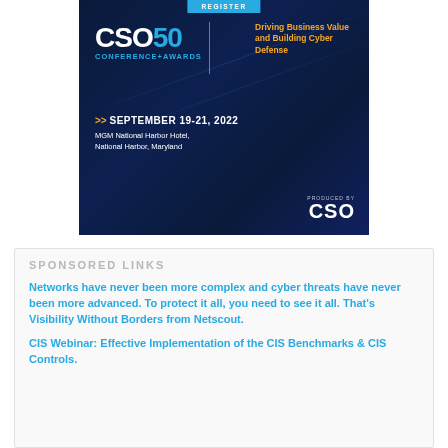[Figure (illustration): CSO50 Conference+Awards advertisement banner. Dark blue gradient background with diagonal light streaks. Register button at top. CSO50 logo on left (CSO in white, 50 in blue). Tagline on right: 'Driving Business Value and Building Cyber Defense' in orange. Date: SEPTEMBER 19-21, 2022. Venue: MGM National Harbor Hotel, National Harbor, Maryland. Produced by CSO logo at bottom right.]
SPONSORED LINKS
Networks have never been more complex and cyber threats have never been more advanced. To protect it all, you need to see it all. That's Visibility Without Borders from Netscout.
CIS Webinar: Effective Implementation of the CIS Benchmarks & CIS Controls.